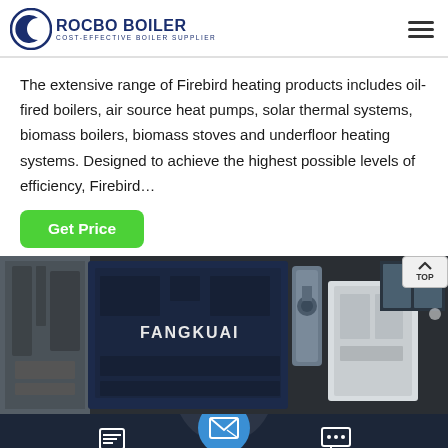[Figure (logo): Rocbo Boiler logo with crescent moon icon and text ROCBO BOILER / COST-EFFECTIVE BOILER SUPPLIER]
The extensive range of Firebird heating products includes oil-fired boilers, air source heat pumps, solar thermal systems, biomass boilers, biomass stoves and underfloor heating systems. Designed to achieve the highest possible levels of efficiency, Firebird…
[Figure (other): Get Price green button]
[Figure (photo): Industrial boilers labeled FANGKUAI in a factory/showroom setting with dark background]
Send Message
Inquiry Online